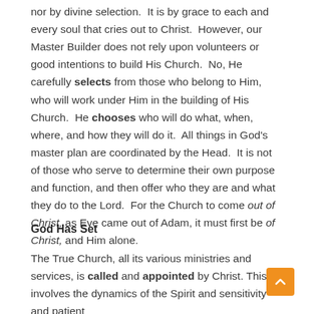nor by divine selection.  It is by grace to each and every soul that cries out to Christ.  However, our Master Builder does not rely upon volunteers or good intentions to build His Church.  No, He carefully selects from those who belong to Him, who will work under Him in the building of His Church.  He chooses who will do what, when, where, and how they will do it.  All things in God's master plan are coordinated by the Head.  It is not of those who serve to determine their own purpose and function, and then offer who they are and what they do to the Lord.  For the Church to come out of Christ, as Eve came out of Adam, it must first be of Christ, and Him alone.
God Has Set
The True Church, all its various ministries and services, is called and appointed by Christ. This involves the dynamics of the Spirit and sensitivity and patient